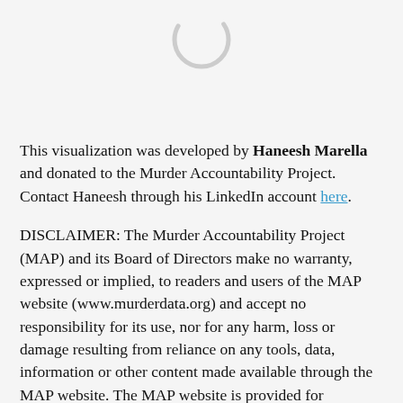[Figure (other): Partially visible circular spinner/loading icon at the top of the page]
This visualization was developed by Haneesh Marella and donated to the Murder Accountability Project. Contact Haneesh through his LinkedIn account here.
DISCLAIMER: The Murder Accountability Project (MAP) and its Board of Directors make no warranty, expressed or implied, to readers and users of the MAP website (www.murderdata.org) and accept no responsibility for its use, nor for any harm, loss or damage resulting from reliance on any tools, data, information or other content made available through the MAP website. The MAP website is provided for informational and non-commercial